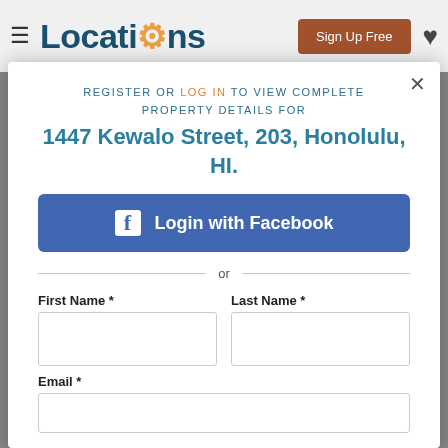Locations — Sign Up Free
REGISTER OR LOG IN TO VIEW COMPLETE PROPERTY DETAILS FOR
1447 Kewalo Street, 203, Honolulu, HI.
Login with Facebook
or
First Name *
Last Name *
Email *